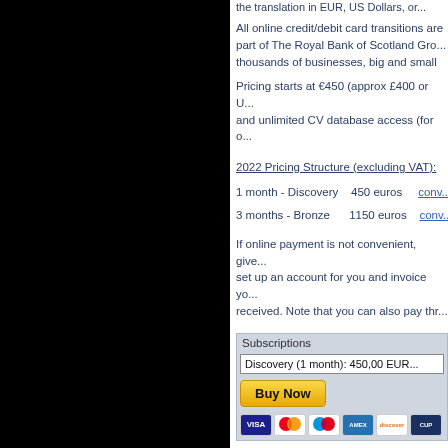the transition in EUR, US Dollars, or Pound Sterling
All online credit/debit card transitions are part of The Royal Bank of Scotland Group. thousands of businesses, big and small
Pricing starts at €450 (approx £400 or US...) and unlimited CV database access (for o...
2022 Pricing Structure (excluding VAT):
1 month - Discovery   450 euros    conve...
3 months - Bronze      1150 euros   conve...
If online payment is not convenient, give... set up an account for you and invoice yo... received. Note that you can also pay thr...
[Figure (screenshot): Subscriptions payment widget showing Discovery (1 month): 450,00 EUR dropdown, Buy Now button, and payment card logos (Visa, Mastercard, Maestro, Amex, Discover, UnionPay)]
Please note that the posting of academi... post it for you.
VAT:
Spacelinks is based in France so the fo...